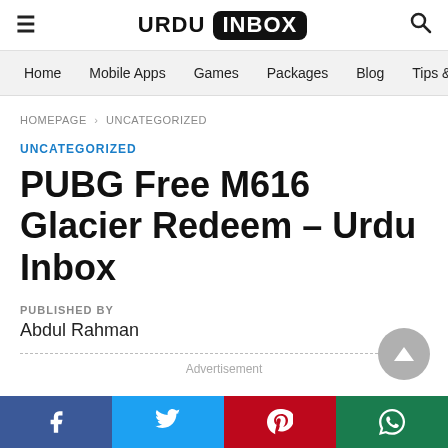URDU INBOX
Home  Mobile Apps  Games  Packages  Blog  Tips & T
HOMEPAGE › UNCATEGORIZED
UNCATEGORIZED
PUBG Free M616 Glacier Redeem – Urdu Inbox
PUBLISHED BY
Abdul Rahman
Advertisement